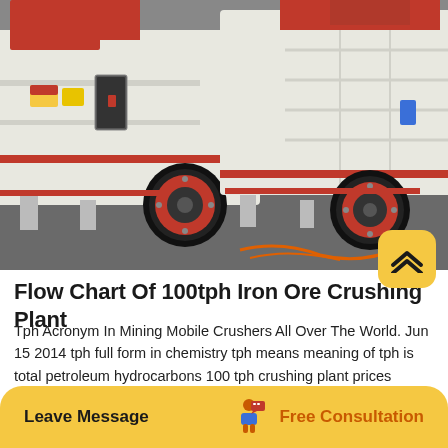[Figure (photo): Two large white and red industrial impact crusher machines photographed side by side on a factory floor. The machines have prominent red-rimmed wheels/flywheels and red accent stripes. Warning labels are visible on the left machine.]
Flow Chart Of 100tph Iron Ore Crushing Plant
Tph Acronym In Mining Mobile Crushers All Over The World. Jun 15 2014 tph full form in chemistry tph means meaning of tph is total petroleum hydrocarbons 100 tph crushing plant prices mining crusher 100 tph crushing plant prices. Details. Crushers 100 Tph Capacity.Mining plant coal crusher and 200 tph and of crushers 100 tph 150 tph 250 tph. In Indonesia, Jacques crusher distributors.
Leave Message   Free Consultation